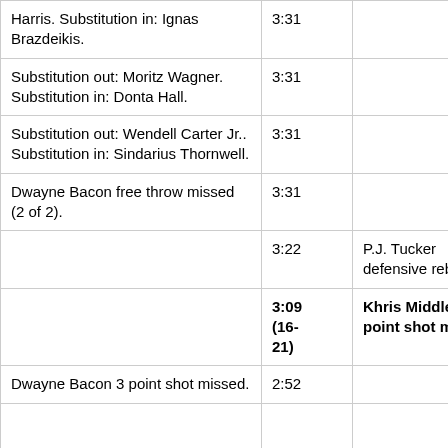| Harris. Substitution in: Ignas Brazdeikis. | 3:31 |  |
| Substitution out: Moritz Wagner. Substitution in: Donta Hall. | 3:31 |  |
| Substitution out: Wendell Carter Jr.. Substitution in: Sindarius Thornwell. | 3:31 |  |
| Dwayne Bacon free throw missed (2 of 2). | 3:31 |  |
|  | 3:22 | P.J. Tucker defensive rebound. |
|  | 3:09 (16-21) | Khris Middleton 2 point shot made. |
| Dwayne Bacon 3 point shot missed. | 2:52 |  |
|  |  |  |